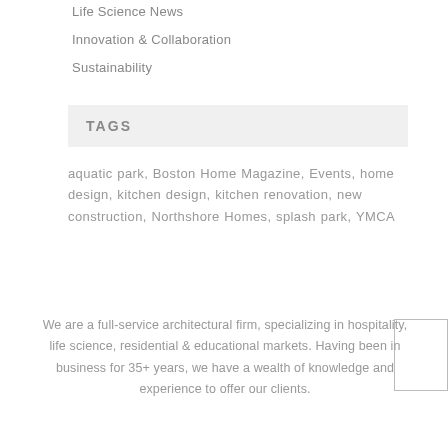Life Science News
Innovation & Collaboration
Sustainability
TAGS
aquatic park, Boston Home Magazine, Events, home design, kitchen design, kitchen renovation, new construction, Northshore Homes, splash park, YMCA
We are a full-service architectural firm, specializing in hospitality, life science, residential & educational markets. Having been in business for 35+ years, we have a wealth of knowledge and experience to offer our clients.